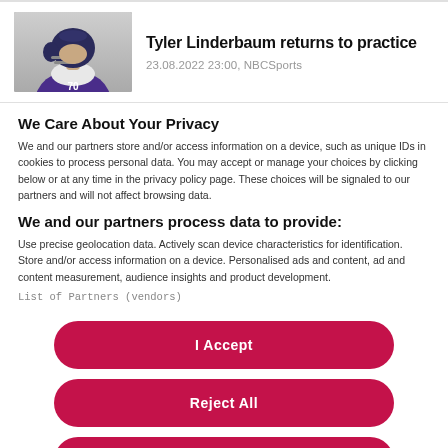[Figure (photo): Photo of Tyler Linderbaum in purple football uniform with helmet]
Tyler Linderbaum returns to practice
23.08.2022 23:00, NBCSports
We Care About Your Privacy
We and our partners store and/or access information on a device, such as unique IDs in cookies to process personal data. You may accept or manage your choices by clicking below or at any time in the privacy policy page. These choices will be signaled to our partners and will not affect browsing data.
We and our partners process data to provide:
Use precise geolocation data. Actively scan device characteristics for identification. Store and/or access information on a device. Personalised ads and content, ad and content measurement, audience insights and product development.
List of Partners (vendors)
I Accept
Reject All
Show Purposes